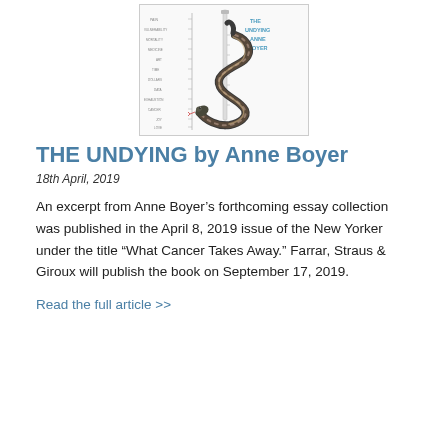[Figure (illustration): Book cover of 'The Undying' by Anne Boyer, featuring a snake coiled around a medical syringe against a white background with measurement markings on the left side and the title text on the right side in blue.]
THE UNDYING by Anne Boyer
18th April, 2019
An excerpt from Anne Boyer’s forthcoming essay collection was published in the April 8, 2019 issue of the New Yorker under the title “What Cancer Takes Away.” Farrar, Straus & Giroux will publish the book on September 17, 2019.
Read the full article >>